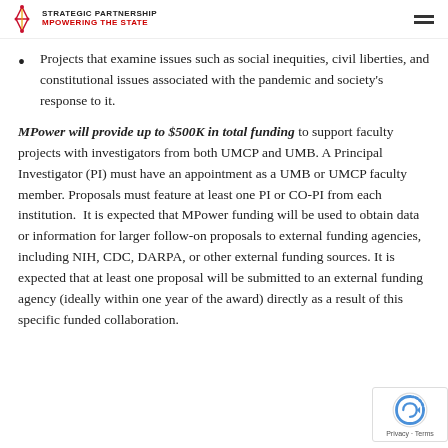STRATEGIC PARTNERSHIP MPOWERING THE STATE
Projects that examine issues such as social inequities, civil liberties, and constitutional issues associated with the pandemic and society's response to it.
MPower will provide up to $500K in total funding to support faculty projects with investigators from both UMCP and UMB. A Principal Investigator (PI) must have an appointment as a UMB or UMCP faculty member. Proposals must feature at least one PI or CO-PI from each institution. It is expected that MPower funding will be used to obtain data or information for larger follow-on proposals to external funding agencies, including NIH, CDC, DARPA, or other external funding sources. It is expected that at least one proposal will be submitted to an external funding agency (ideally within one year of the award) directly as a result of this specific funded collaboration.